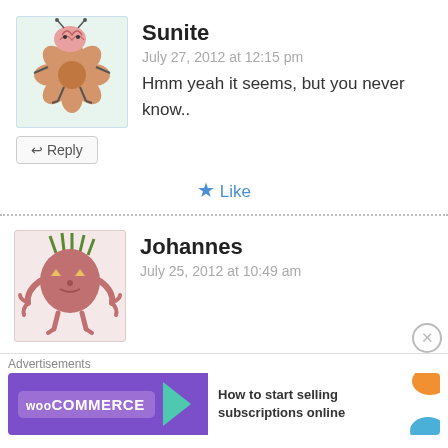[Figure (illustration): Avatar of user Sunite: cartoon illustration of a creature with a pink brain-like head and star/flower body shape with legs, on a light green background]
Sunite
July 27, 2012 at 12:15 pm
Hmm yeah it seems, but you never know..
↩ Reply
★ Like
[Figure (illustration): Avatar of user Johannes: cartoon illustration of a pink blob creature with yellow triangle eyes, tentacle-like arms, on a pink background]
Johannes
July 25, 2012 at 10:49 am
The battle is getting pretty intense. Byakuya, Renji and Rukia are defeated but Kenpachi is a monster. Seeing him carrying 3 dead bodies made me laugh and reminded me how badass
↩ Reply
Advertisements
[Figure (screenshot): WooCommerce advertisement banner: purple background with WooCommerce logo and arrow, white section with text 'How to start selling subscriptions online' and orange decorative blob]